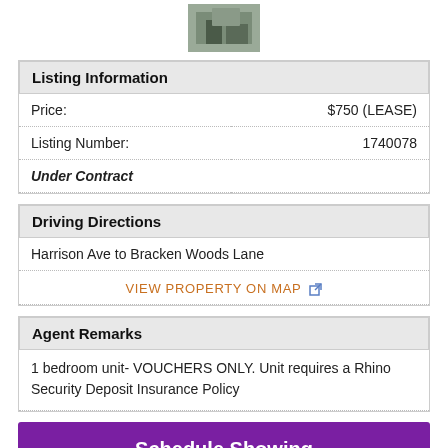[Figure (photo): Small thumbnail photo of property exterior]
| Field | Value |
| --- | --- |
| Price: | $750 (LEASE) |
| Listing Number: | 1740078 |
| Under Contract |  |
Driving Directions
Harrison Ave to Bracken Woods Lane
VIEW PROPERTY ON MAP
Agent Remarks
1 bedroom unit- VOUCHERS ONLY. Unit requires a Rhino Security Deposit Insurance Policy
Schedule Showing
Request Information
Property Information   Mortgage Calculator
More Information